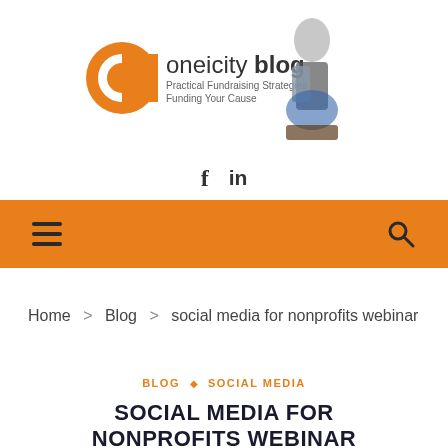[Figure (logo): Oneicity Blog logo with orange circular icon, text 'oneicity blog', taglines 'Practical Fundraising Strategies' and 'Funding Your Cause', and a photo of a man sitting cross-legged]
[Figure (infographic): Social media icons: f (Facebook) and in (LinkedIn)]
[Figure (infographic): Orange navigation bar with hamburger menu icon on left and search (magnifying glass) icon on right]
Home > Blog > social media for nonprofits webinar
BLOG ◇ SOCIAL MEDIA
SOCIAL MEDIA FOR NONPROFITS WEBINAR